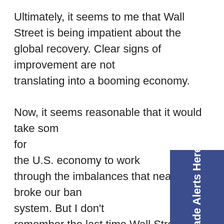Ultimately, it seems to me that Wall Street is being impatient about the global recovery. Clear signs of improvement are not translating into a booming economy.

Now, it seems reasonable that it would take some time for the U.S. economy to work through the imbalances that nearly broke our banking system. But I don't remember the last time Wall Street was accused of being reasonable. It's like they are saying if we don't see +5% GDP growth, then we must be headed for a double dip of recession.